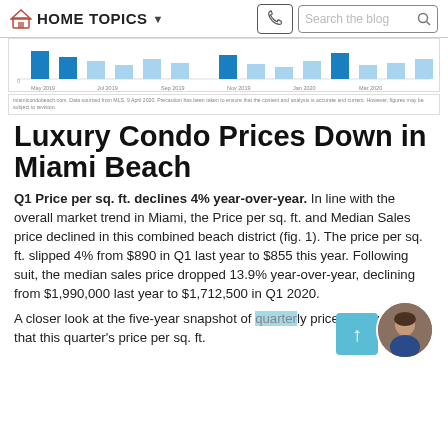HOME  TOPICS  Search the blog
[Figure (bar-chart): Partial bar chart showing price data from May 2019 to Mar 2020, with blue bars of varying heights. X-axis labels: May 2019, Jul 2019, Sep 2019, Nov 2019, Jan 2020, Mar 2020.]
miamicondobeach.com. Data sourced from MLS. 9 April 2020. Precaution has been taken to ensure that the content and analysis is accurate and current. However, figures may be subject to revision.
Luxury Condo Prices Down in Miami Beach
Q1 Price per sq. ft. declines 4% year-over-year. In line with the overall market trend in Miami, the Price per sq. ft. and Median Sales price declined in this combined beach district (fig. 1). The price per sq. ft. slipped 4% from $890 in Q1 last year to $855 this year. Following suit, the median sales price dropped 13.9% year-over-year, declining from $1,990,000 last year to $1,712,500 in Q1 2020.
A closer look at the five-year snapshot of quarterly prices below reveals that this quarter's price per sq. ft.